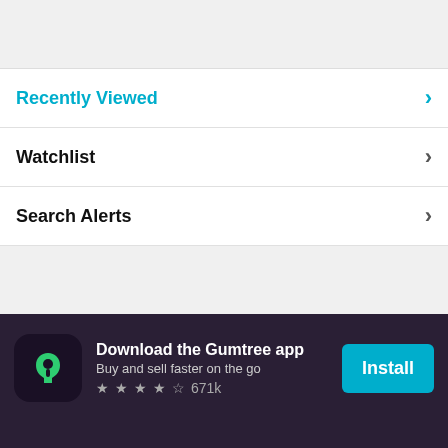Recently Viewed
Watchlist
Search Alerts
[Figure (screenshot): Gumtree app download banner with icon, title 'Download the Gumtree app', subtitle 'Buy and sell faster on the go', star rating 4 stars, 671k reviews, and Install button]
Tips & help
Legal
About Us
Terms of Use